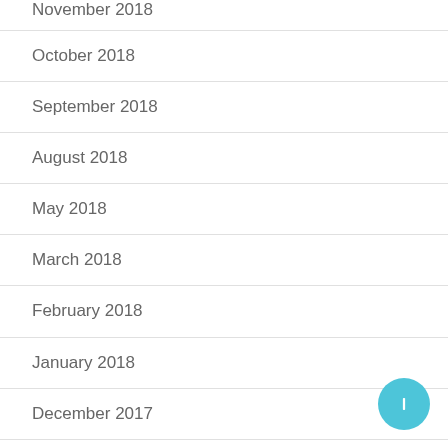November 2018
October 2018
September 2018
August 2018
May 2018
March 2018
February 2018
January 2018
December 2017
November 2017